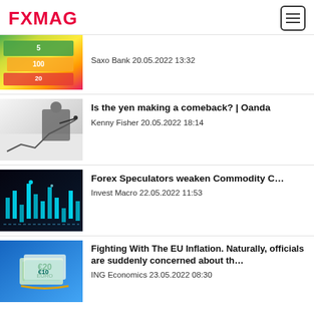FXMAG
[Figure (photo): Australian currency bills fanned out]
Saxo Bank 20.05.2022 13:32
[Figure (photo): Businessman drawing upward chart line]
Is the yen making a comeback? | Oanda
Kenny Fisher 20.05.2022 18:14
[Figure (photo): Dark candlestick chart with blue glow]
Forex Speculators weaken Commodity C…
Invest Macro 22.05.2022 11:53
[Figure (photo): Euro banknotes tied with rope on blue background]
Fighting With The EU Inflation. Naturally, officials are suddenly concerned about th…
ING Economics 23.05.2022 08:30